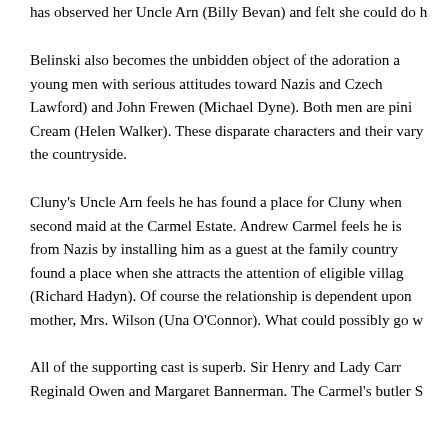has observed her Uncle Arn (Billy Bevan) and felt she could do h
Belinski also becomes the unbidden object of the adoration a young men with serious attitudes toward Nazis and Czec Lawford) and John Frewen (Michael Dyne). Both men are pini Cream (Helen Walker). These disparate characters and their var the countryside.
Cluny's Uncle Arn feels he has found a place for Cluny whe second maid at the Carmel Estate. Andrew Carmel feels he i from Nazis by installing him as a guest at the family countr found a place when she attracts the attention of eligible villag (Richard Hadyn). Of course the relationship is dependent upo mother, Mrs. Wilson (Una O'Connor). What could possibly go w
All of the supporting cast is superb. Sir Henry and Lady Car Reginald Owen and Margaret Bannerman. The Carmel's butler S display the proper haughtiness of their exalted positions, as po Algood.
Cluny Brown is a whimsical and insightful look at the class sys